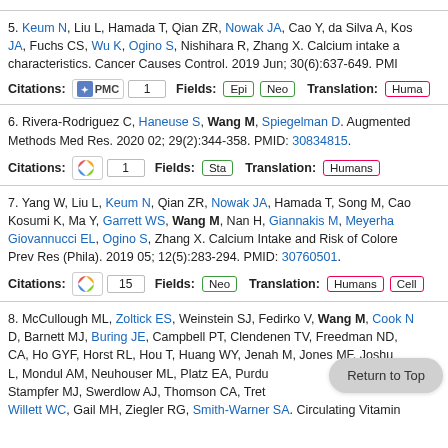5. Keum N, Liu L, Hamada T, Qian ZR, Nowak JA, Cao Y, da Silva A, Kos JA, Fuchs CS, Wu K, Ogino S, Nishihara R, Zhang X. Calcium intake and characteristics. Cancer Causes Control. 2019 Jun; 30(6):637-649. PMI
Citations: PMC 1  Fields: Epi Neo  Translation: Humans
6. Rivera-Rodriguez C, Haneuse S, Wang M, Spiegelman D. Augmented Methods Med Res. 2020 02; 29(2):344-358. PMID: 30834815.
Citations: Altmetric 1  Fields: Sta  Translation: Humans
7. Yang W, Liu L, Keum N, Qian ZR, Nowak JA, Hamada T, Song M, Cao Kosumi K, Ma Y, Garrett WS, Wang M, Nan H, Giannakis M, Meyerhan Giovannucci EL, Ogino S, Zhang X. Calcium Intake and Risk of Colore Prev Res (Phila). 2019 05; 12(5):283-294. PMID: 30760501.
Citations: Altmetric 15  Fields: Neo  Translation: Humans  Cells
8. McCullough ML, Zoltick ES, Weinstein SJ, Fedirko V, Wang M, Cook N D, Barnett MJ, Buring JE, Campbell PT, Clendenen TV, Freedman ND, CA, Ho GYF, Horst RL, Hou T, Huang WY, Jenah M, Jones MF, Joshu L, Mondul AM, Neuhouser ML, Platz EA, Purdu Stampfer MJ, Swerdlow AJ, Thomson CA, Tret Willett WC, Gail MH, Ziegler RG, Smith-Warner SA. Circulating Vitamin